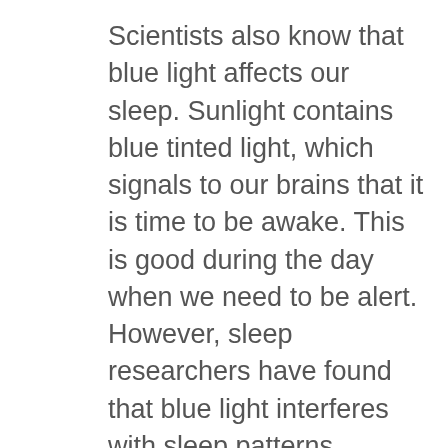Scientists also know that blue light affects our sleep. Sunlight contains blue tinted light, which signals to our brains that it is time to be awake. This is good during the day when we need to be alert.  However, sleep researchers have found that blue light interferes with sleep patterns because it suppresses melatonin production. Melatonin is the key component in our chemistry that makes us wind down and feel sleepy. Too much blue light in the evening will reduce melatonin product and have negative consequences on your sleep. The effects of blue light on sleep have been studied and the results show how nighttime exposure to blue light made it more difficult to fall asleep and reduced rapid eye movement (REM) sleep. Reduced REM sleep leaves people feeling less rested in the morning, even if they get the same quantity of sleep as someone who read a book at night instead of doing an activity with blue light exposure, such as